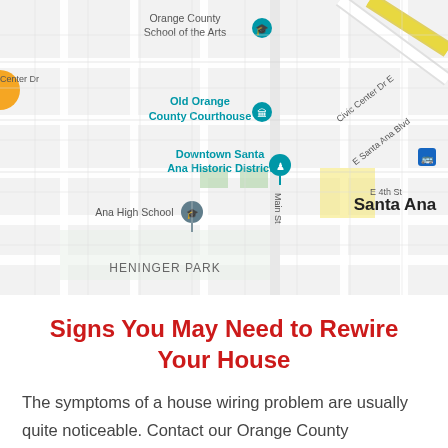[Figure (map): Google Maps screenshot showing Santa Ana, CA area with landmarks including Orange County School of the Arts, Old Orange County Courthouse, Downtown Santa Ana Historic District, Santa Ana High School, Heninger Park, and street labels including Logan, E 4th St, E Santa Ana Blvd, Civic Center Dr E, and Main St.]
Signs You May Need to Rewire Your House
The symptoms of a house wiring problem are usually quite noticeable. Contact our Orange County electricians if you notice: